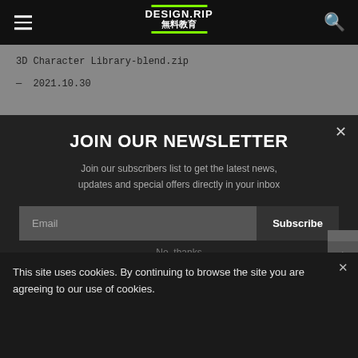DESIGN.RIP 無料教育
3D Character Library-blend.zip
— 2021.10.30
JOIN OUR NEWSLETTER
Join our subscribers list to get the latest news, updates and special offers directly in your inbox
Email
Subscribe
No, thanks
This site uses cookies. By continuing to browse the site you are agreeing to our use of cookies.